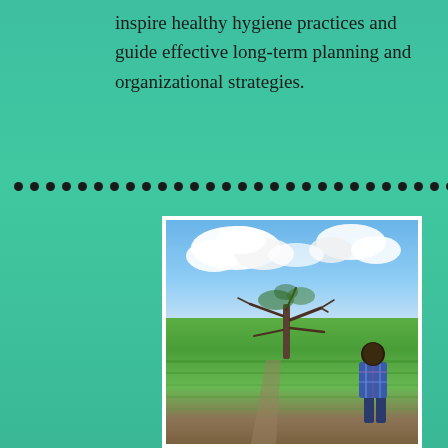inspire healthy hygiene practices and guide effective long-term planning and organizational strategies.
[Figure (photo): A man in a plaid shirt standing in a green agricultural field with a sparse tree and cloudy blue sky in the background.]